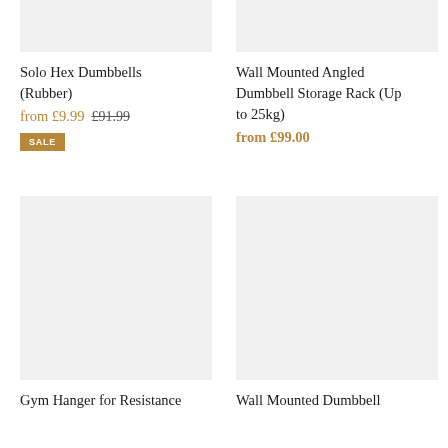[Figure (photo): Product image placeholder (light grey rectangle) for Solo Hex Dumbbells (Rubber) — top portion, partially cropped]
Solo Hex Dumbbells (Rubber)
from £9.99  £91.99
SALE
[Figure (photo): Product image placeholder (light grey rectangle) for Wall Mounted Angled Dumbbell Storage Rack (Up to 25kg) — top portion, partially cropped]
Wall Mounted Angled Dumbbell Storage Rack (Up to 25kg)
from £99.00
[Figure (photo): Product image placeholder (light grey rectangle) for Gym Hanger for Resistance Bands]
Gym Hanger for Resistance
[Figure (photo): Product image placeholder (light grey rectangle) for Wall Mounted Dumbbell storage product]
Wall Mounted Dumbbell